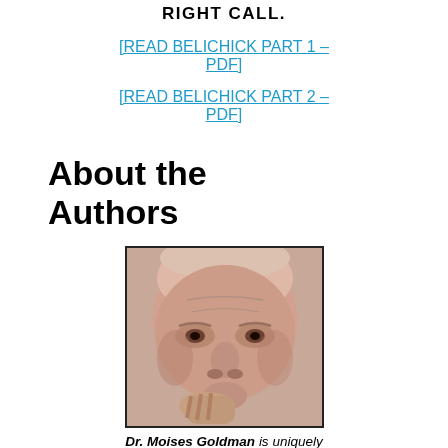RIGHT CALL.
[READ BELICHICK PART 1 – PDF]
[READ BELICHICK PART 2 – PDF]
About the Authors
[Figure (photo): Close-up portrait photo of an elderly man with white hair, resting his hand near his chin, looking thoughtful.]
Dr. Moises Goldman is uniquely